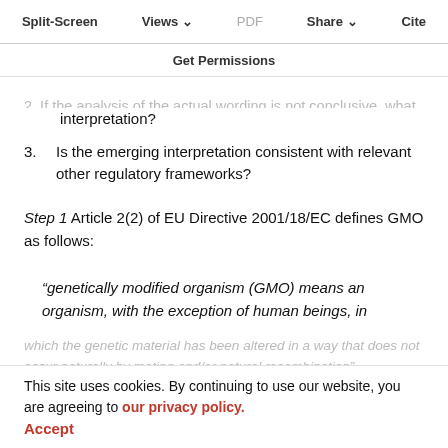Split-Screen | Views | PDF | Share | Cite
Get Permissions
2. If the analysis of the actual wording is not conclusive, what other clues does the Directive offer for a correct interpretation?
3. Is the emerging interpretation consistent with relevant other regulatory frameworks?
Step 1 Article 2(2) of EU Directive 2001/18/EC defines GMO as follows:
“genetically modified organism (GMO) means an organism, with the exception of human beings, in which the genetic material has been altered in a way that does not occur naturally by mating and/or natural recombination”
This site uses cookies. By continuing to use our website, you are agreeing to our privacy policy. Accept